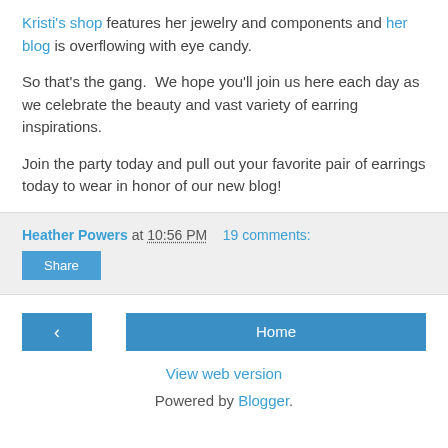Kristi's shop features her jewelry and components and her blog is overflowing with eye candy.
So that's the gang.  We hope you'll join us here each day as we celebrate the beauty and vast variety of earring inspirations.
Join the party today and pull out your favorite pair of earrings today to wear in honor of our new blog!
Heather Powers at 10:56 PM    19 comments:
Share
Home
View web version
Powered by Blogger.